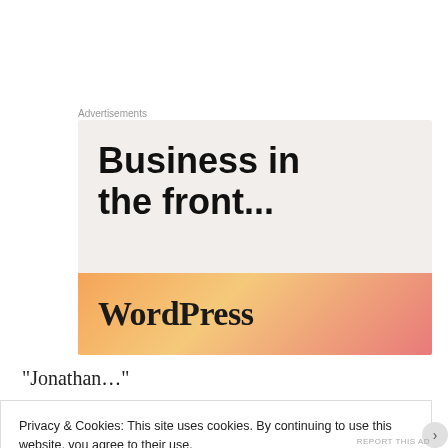Advertisements
[Figure (screenshot): WordPress advertisement banner. Top section on light beige background with bold text 'Business in the front...' and bottom section is an orange-to-pink gradient bar with 'WordPress' in serif font.]
“Jonathan…”
Privacy & Cookies: This site uses cookies. By continuing to use this website, you agree to their use.
To find out more, including how to control cookies, see here: Cookie Policy
Close and accept